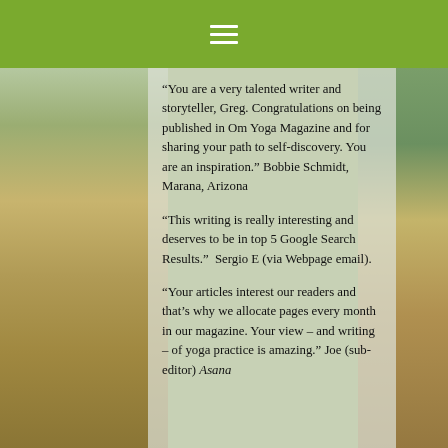≡
“You are a very talented writer and storyteller, Greg. Congratulations on being published in Om Yoga Magazine and for sharing your path to self-discovery. You are an inspiration.” Bobbie Schmidt, Marana, Arizona
“This writing is really interesting and deserves to be in top 5 Google Search Results.”  Sergio E (via Webpage email).
“Your articles interest our readers and that’s why we allocate pages every month in our magazine. Your view – and writing – of yoga practice is amazing.” Joe (sub-editor) Asana